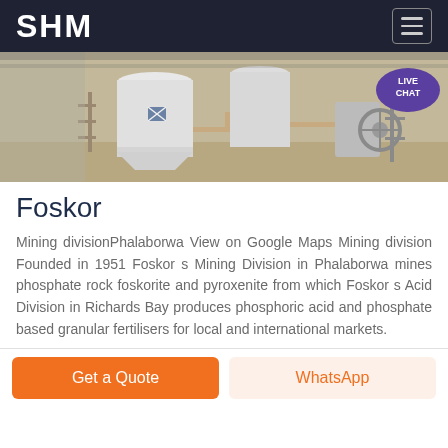SHM
[Figure (photo): Industrial mining facility interior showing large white silos, tanks, and processing equipment with metal scaffolding]
Foskor
Mining divisionPhalaborwa View on Google Maps Mining division Founded in 1951 Foskor s Mining Division in Phalaborwa mines phosphate rock foskorite and pyroxenite from which Foskor s Acid Division in Richards Bay produces phosphoric acid and phosphate based granular fertilisers for local and international markets.
Get a Quote
WhatsApp